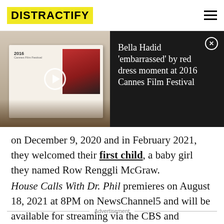DISTRACTIFY
[Figure (screenshot): Video thumbnail showing an open photo book with a red dress photo, overlaid with a play button. Right panel shows headline 'Bella Hadid embarrassed by red dress moment at 2016 Cannes Film Festival' on dark background with close button.]
on December 9, 2020 and in February 2021, they welcomed their first child, a baby girl they named Row Renggli McGraw.
House Calls With Dr. Phil premieres on August 18, 2021 at 8PM on NewsChannel5 and will be available for streaming via the CBS and Paramount Plus apps.
Advertisement